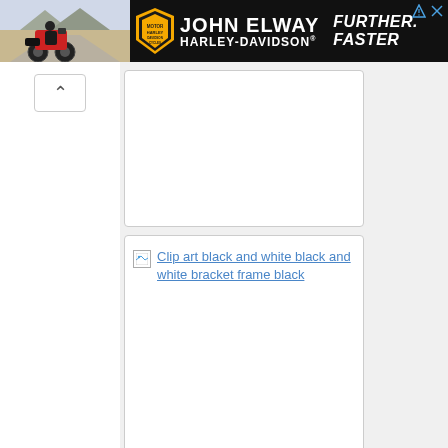[Figure (screenshot): Advertisement banner for John Elway Harley-Davidson with motorcycle photo, shield logo, brand name, and 'Further Faster' tagline on dark background]
[Figure (other): Empty white image card placeholder (top card)]
[Figure (other): Broken image link card showing text link: 'Clip art black and white black and white bracket frame black']